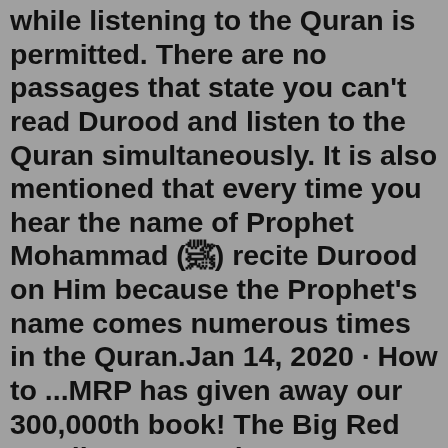while listening to the Quran is permitted. There are no passages that state you can't read Durood and listen to the Quran simultaneously. It is also mentioned that every time you hear the name of Prophet Mohammad (ﷺ) recite Durood on Him because the Prophet's name comes numerous times in the Quran.Jan 14, 2020 · How to ...MRP has given away our 300,000th book! The Big Red Reading Bus and MRP crew joined authors E.E. Charlton-Trujillo and Pat Zietlow Miller at Theresa Terrace Neighborhood Center for a special reading of their book, Lupe Lopez: Rock Star Rules! Each of the kids were given a copy of the book and also chose a book from the Big Red Reading Bus.Greater Reading Area - Municipalities. Municipalities. Under Pennsylvania law, there are four types of incorporated municipalities: cities, boroughs, townships, and ... Reading and Writing Strategies. Use these interventions to support special education students struggling with reading and writing. Students who have language delays, language deficits, and reading